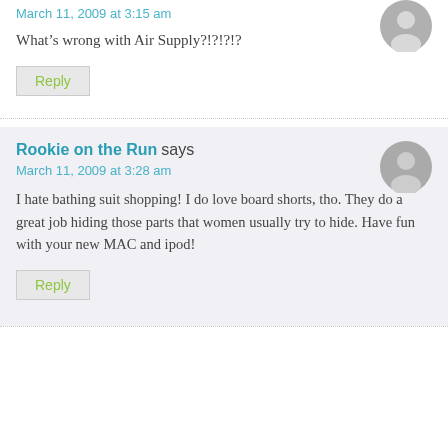March 11, 2009 at 3:15 am
What's wrong with Air Supply?!?!?!?
Reply
Rookie on the Run says
March 11, 2009 at 3:28 am
I hate bathing suit shopping! I do love board shorts, tho. They do a great job hiding those parts that women usually try to hide. Have fun with your new MAC and ipod!
Reply